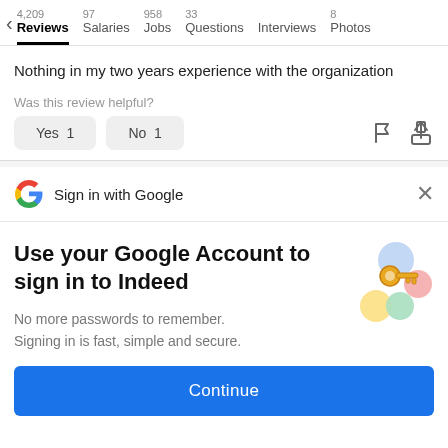4,209 Reviews  97 Salaries  958 Jobs  33 Questions  Interviews  8 Photos
Nothing in my two years experience with the organization
Was this review helpful?
Yes  1   No  1
Sign in with Google
Use your Google Account to sign in to Indeed
No more passwords to remember. Signing in is fast, simple and secure.
Continue